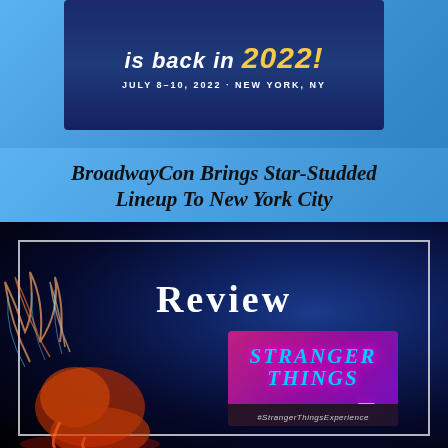[Figure (illustration): BroadwayCon promotional card on blue background showing 'is back in 2022!' text in white and yellow with 'JULY 8-10, 2022 · NEW YORK, NY' below on a dark navy background]
BroadwayCon Brings Star-Studded Lineup To New York City
[Figure (illustration): Stranger Things Experience review card showing the Stranger Things logo in neon purple/pink against dark blue background with a monster creature on the left side and 'REVIEW' text at the top. Hashtag #StrangerThingsExperience at the bottom.]